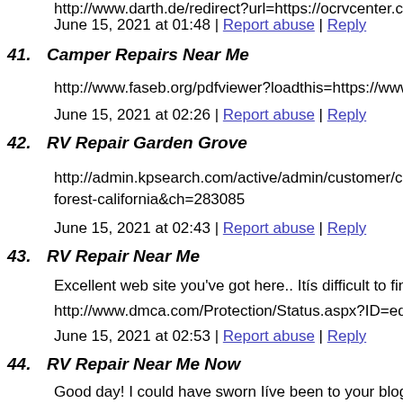http://www.darth.de/redirect?url=https://ocrvcenter.com/rv-re
June 15, 2021 at 01:48 | Report abuse | Reply
41. Camper Repairs Near Me
http://www.faseb.org/pdfviewer?loadthis=https://www.ocrvcen
June 15, 2021 at 02:26 | Report abuse | Reply
42. RV Repair Garden Grove
http://admin.kpsearch.com/active/admin/customer/customer_e forest-california&ch=283085
June 15, 2021 at 02:43 | Report abuse | Reply
43. RV Repair Near Me
Excellent web site you've got here.. Itís difficult to find high-q
http://www.dmca.com/Protection/Status.aspx?ID=edc817fd-d7
June 15, 2021 at 02:53 | Report abuse | Reply
44. RV Repair Near Me Now
Good day! I could have sworn Iíve been to your blog before but happy I found it and Iíll be bookmarking it and checking back
http://marcellusmatters.psu.edu/?URL=mallora.immobilier.di